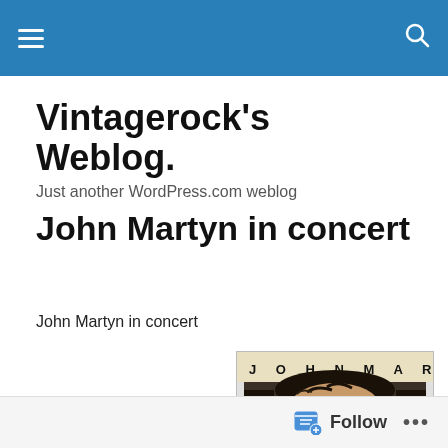Vintagerock's Weblog.
Just another WordPress.com weblog
John Martyn in concert
John Martyn in concert
[Figure (photo): Album cover for John Martyn in concert showing the text 'JOHN MARTYN' at the top and a close-up photo of a man's face with blue eyes and dark curly hair.]
Follow  •••